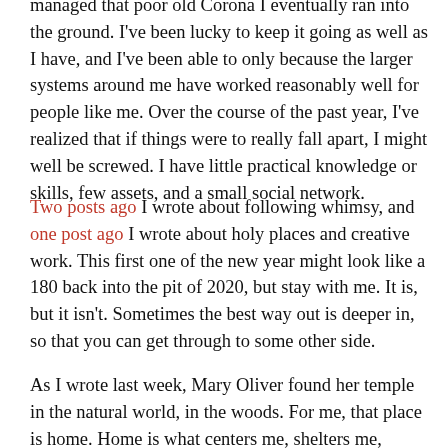managed that poor old Corona I eventually ran into the ground. I've been lucky to keep it going as well as I have, and I've been able to only because the larger systems around me have worked reasonably well for people like me. Over the course of the past year, I've realized that if things were to really fall apart, I might well be screwed. I have little practical knowledge or skills, few assets, and a small social network.
Two posts ago I wrote about following whimsy, and one post ago I wrote about holy places and creative work. This first one of the new year might look like a 180 back into the pit of 2020, but stay with me. It is, but it isn't. Sometimes the best way out is deeper in, so that you can get through to some other side.
As I wrote last week, Mary Oliver found her temple in the natural world, in the woods. For me, that place is home. Home is what centers me, shelters me, teaches me, and